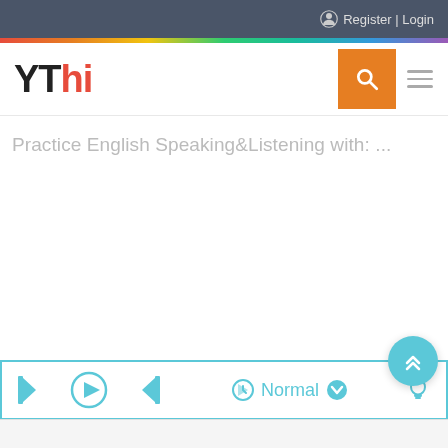Register | Login
[Figure (logo): YThi logo with orange search button and gray hamburger menu]
Practice English Speaking&Listening with: ...
[Figure (screenshot): Media player bar with skip-back, play, skip-forward controls and Normal speed setting, scroll-up button, and light bulb icon]